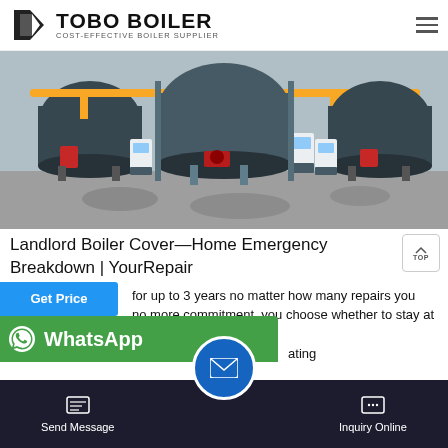TOBO BOILER — COST-EFFECTIVE BOILER SUPPLIER
[Figure (photo): Industrial boilers in a facility — multiple large cylindrical blue-grey boilers with yellow pipes and control panels.]
Landlord Boiler Cover—Home Emergency Breakdown | YourRepair
for up to 3 years no matter how many repairs you no more commitment, you choose whether to stay at oiler Care Plan 1 £16.00 a month. Boiler mo ating
Send Message | Inquiry Online